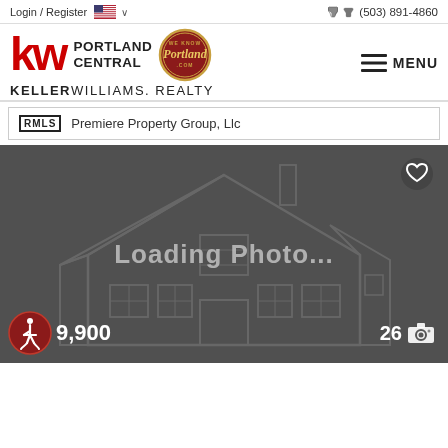Login / Register  🇺🇸 ∨  (503) 891-4860
[Figure (logo): KW Portland Central Keller Williams Realty logo with Portland badge]
≡ MENU
RMLS  Premiere Property Group, Llc
[Figure (illustration): Real estate listing photo placeholder showing a house outline watermark on dark gray background with Loading Photo... text, a heart/favorite button in top right, accessibility icon and price 9,900 in bottom left, and 26 camera icon in bottom right]